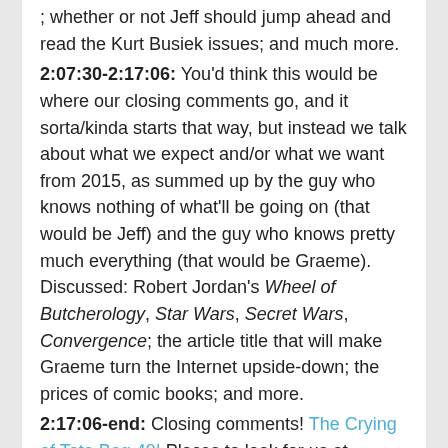; whether or not Jeff should jump ahead and read the Kurt Busiek issues;  and much more.
2:07:30-2:17:06:  You'd think this would be where our closing comments go, and it sorta/kinda starts that way, but instead we talk about what we expect and/or what we want from 2015, as summed up by the guy who knows nothing of what'll be going on (that would be Jeff) and the guy who knows pretty much everything (that would be Graeme).  Discussed:  Robert Jordan's Wheel of Butcherology, Star Wars, Secret Wars, Convergence; the article title that will make Graeme turn the Internet upside-down; the prices of comic books; and more.
2:17:06-end: Closing comments!  The Crying of Tote Bag 49! Places to look for us at—Stitcher! Itunes! Twitter! Tumblr! And, of course, Patreon, where, as of this count, 89 patrons make this